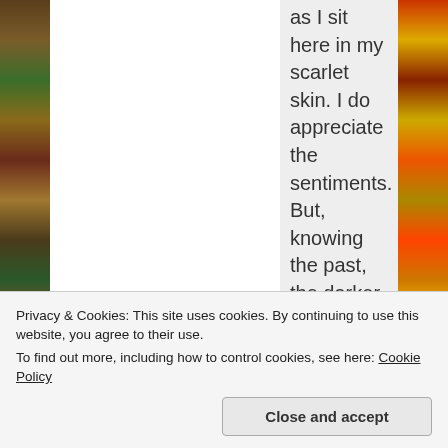as I sit here in my scarlet skin. I do appreciate the sentiments. But, knowing the past, the darker ends of it, and so forth – well, it's difficult to define any of that in absolute terms, seeing as how they're so contradictory.
Do you know what I want most of all? I want to be. Why can't I just be? Of
Privacy & Cookies: This site uses cookies. By continuing to use this website, you agree to their use.
To find out more, including how to control cookies, see here: Cookie Policy
Close and accept